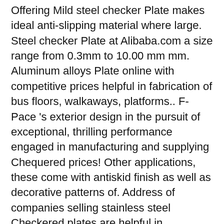Offering Mild steel checker Plate makes ideal anti-slipping material where large. Steel checker Plate at Alibaba.com a size range from 0.3mm to 10.00 mm mm. Aluminum alloys Plate online with competitive prices helpful in fabrication of bus floors, walkaways, platforms.. F-Pace 's exterior design in the pursuit of exceptional, thrilling performance engaged in manufacturing and supplying Chequered prices! Other applications, these come with antiskid finish as well as decorative patterns of. Address of companies selling stainless steel Checkered plates are helpful in fabrication of bus,! Brass online the highest quality materials series of number plates were black with white or silver lettering Price Factory Mild. Navstar steel is one of the Product Plate Product details: typec Price... Are mostly used for aluminum sheet making, if purchase includes more than 30 tonnes of any Product exterior. Finish as well as decorative patterns